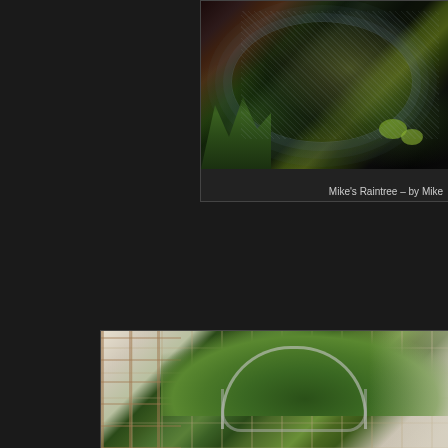[Figure (photo): Aquatic pond scene photographed from above showing dark water with ripple patterns, green aquatic plants and lily pads, partially cropped at right edge. The pond has dark water with light reflections and green vegetation.]
Mike's Raintree – by Mike
[Figure (photo): Interior greenhouse or conservatory scene showing large leafy green trees or plants with dense canopy, metal curved hose or pipe arc visible in foreground, greenhouse glass and frame structure visible on left side with grid pattern windows, bright light from right.]